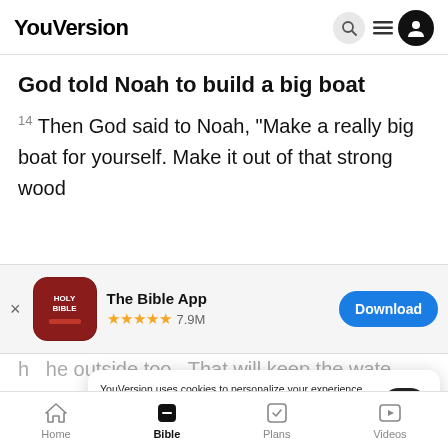YouVersion
God told Noah to build a big boat
14 Then God said to Noah, “Make a really big boat for yourself. Make it out of that strong wood
[Figure (screenshot): App store banner for The Bible App with red icon, 5 stars, 7.9M ratings, and Download button]
he outside too. That will keep the wate.
of the b
15 Lis
YouVersion uses cookies to personalize your experience. By using our website, you accept our use of cookies as described in our Privacy Policy.
Home | Bible | Plans | Videos